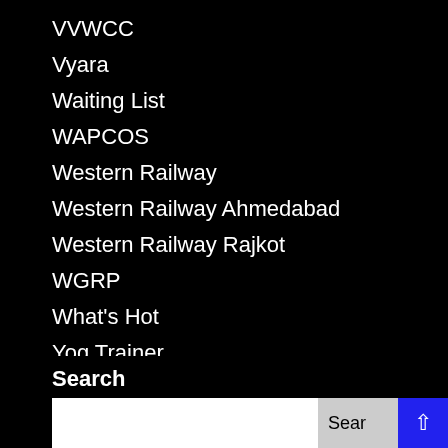VVWCC
Vyara
Waiting List
WAPCOS
Western Railway
Western Railway Ahmedabad
Western Railway Rajkot
WGRP
What's Hot
Yog Trainer
Yoga Teacher
Search